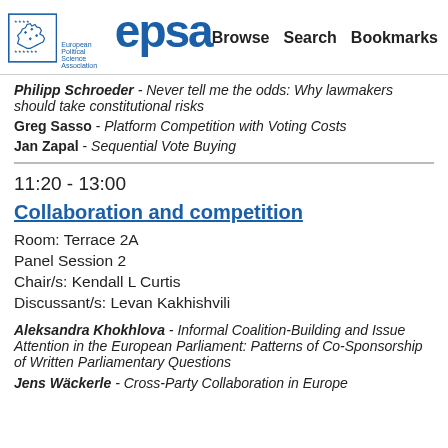EPSA — European Political Science Association | Browse | Search | Bookmarks
Philipp Schroeder - Never tell me the odds: Why lawmakers should take constitutional risks
Greg Sasso - Platform Competition with Voting Costs
Jan Zapal - Sequential Vote Buying
11:20 - 13:00
Collaboration and competition
Room: Terrace 2A
Panel Session 2
Chair/s: Kendall L Curtis
Discussant/s: Levan Kakhishvili
Aleksandra Khokhlova - Informal Coalition-Building and Issue Attention in the European Parliament: Patterns of Co-Sponsorship of Written Parliamentary Questions
Jens Wäckerle - Cross-Party Collaboration in Europe